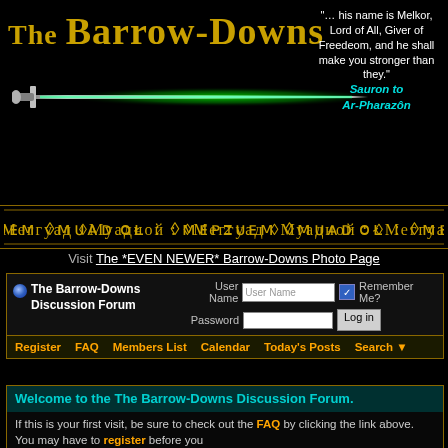[Figure (logo): The Barrow-Downs website logo with sword graphic and golden text]
"… his name is Melkor, Lord of All, Giver of Freedeom, and he shall make you stronger than they." Sauron to Ar-Pharazôn
[Figure (illustration): Elvish script decorative banner with golden text]
Visit The *EVEN NEWER* Barrow-Downs Photo Page
| The Barrow-Downs Discussion Forum | User Name [field] Remember Me? Password [field] Log in |
Register   FAQ   Members List   Calendar   Today's Posts   Search
Welcome to the The Barrow-Downs Discussion Forum.
If this is your first visit, be sure to check out the FAQ by clicking the link above. You may have to register before you